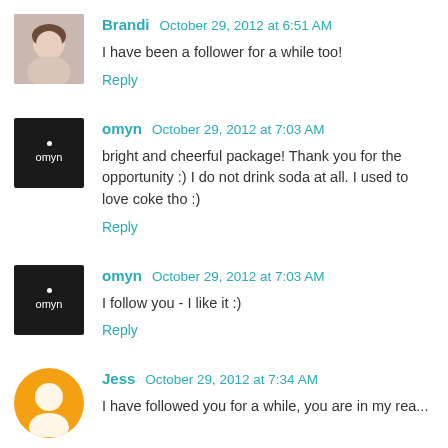Brandi  October 29, 2012 at 6:51 AM
I have been a follower for a while too!
Reply
omyn  October 29, 2012 at 7:03 AM
bright and cheerful package! Thank you for the opportunity :) I do not drink soda at all. I used to love coke tho :)
Reply
omyn  October 29, 2012 at 7:03 AM
I follow you - I like it :)
Reply
Jess  October 29, 2012 at 7:34 AM